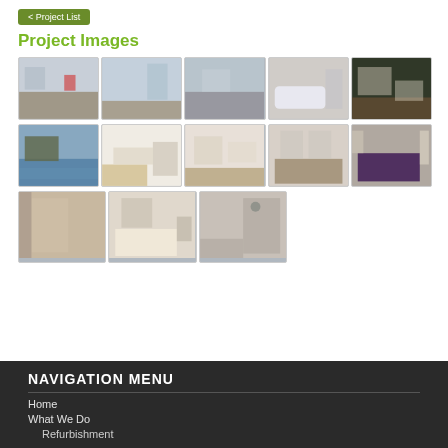< Project List
Project Images
[Figure (photo): Grid of 13 interior/exterior renovation project photos showing before and after states of a property refurbishment]
NAVIGATION MENU
Home
What We Do
Refurbishment